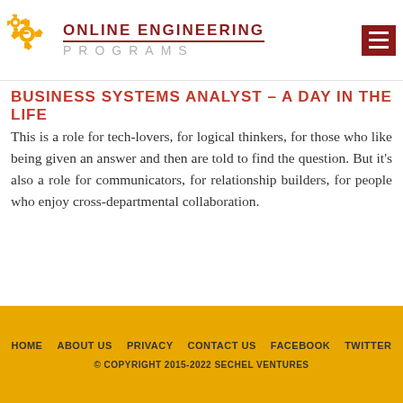ONLINE ENGINEERING PROGRAMS
BUSINESS SYSTEMS ANALYST – A DAY IN THE LIFE
This is a role for tech-lovers, for logical thinkers, for those who like being given an answer and then are told to find the question. But it's also a role for communicators, for relationship builders, for people who enjoy cross-departmental collaboration.
HOME   ABOUT US   PRIVACY   CONTACT US   FACEBOOK   TWITTER
© COPYRIGHT 2015-2022 SECHEL VENTURES